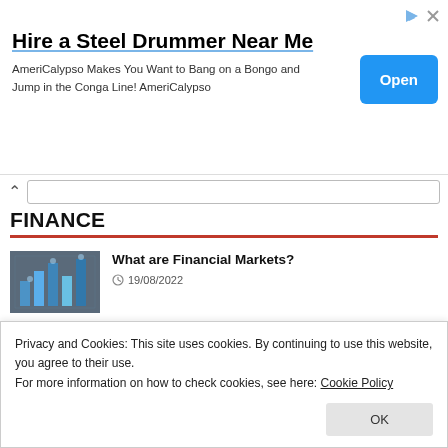[Figure (other): Advertisement banner: 'Hire a Steel Drummer Near Me' with Open button]
Hire a Steel Drummer Near Me
AmeriCalypso Makes You Want to Bang on a Bongo and Jump in the Conga Line! AmeriCalypso
FINANCE
[Figure (photo): Photo of financial bar chart with blue glowing bars]
What are Financial Markets?
19/08/2022
[Figure (photo): Photo of money/currency notes]
Banks With The Highest Retirement Promotion 2022
Privacy and Cookies: This site uses cookies. By continuing to use this website, you agree to their use.
For more information on how to check cookies, see here: Cookie Policy